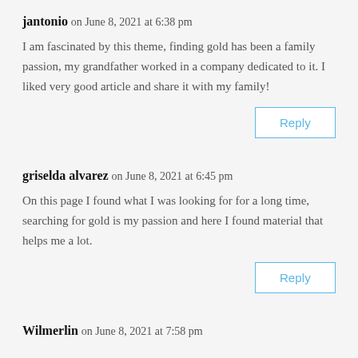jantonio on June 8, 2021 at 6:38 pm
I am fascinated by this theme, finding gold has been a family passion, my grandfather worked in a company dedicated to it. I liked very good article and share it with my family!
Reply
griselda alvarez on June 8, 2021 at 6:45 pm
On this page I found what I was looking for for a long time, searching for gold is my passion and here I found material that helps me a lot.
Reply
Wilmerlin on June 8, 2021 at 7:58 pm